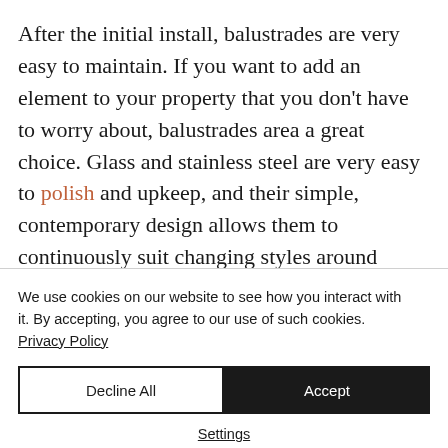After the initial install, balustrades are very easy to maintain. If you want to add an element to your property that you don't have to worry about, balustrades area a great choice. Glass and stainless steel are very easy to polish and upkeep, and their simple, contemporary design allows them to continuously suit changing styles around them.
We use cookies on our website to see how you interact with it. By accepting, you agree to our use of such cookies. Privacy Policy
Decline All
Accept
Settings